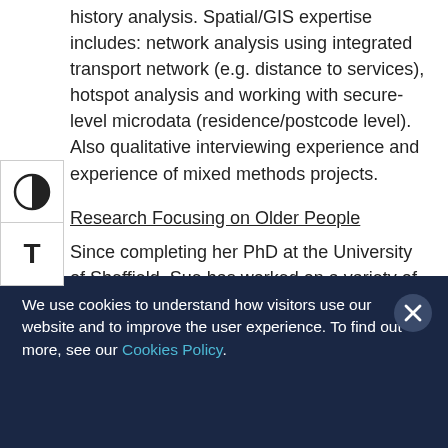history analysis. Spatial/GIS expertise includes: network analysis using integrated transport network (e.g. distance to services), hotspot analysis and working with secure-level microdata (residence/postcode level). Also qualitative interviewing experience and experience of mixed methods projects.
Research Focusing on Older People
Since completing her PhD at the University of Sheffield, Sue has worked on a variety of projects including on neighbourhoods, housing, travel to
We use cookies to understand how visitors use our website and to improve the user experience. To find out more, see our Cookies Policy.